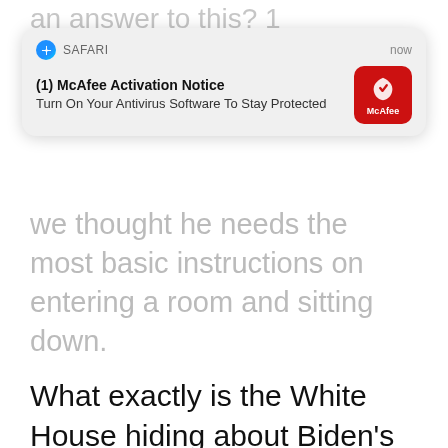[Figure (screenshot): Safari browser notification popup for McAfee Activation Notice saying 'Turn On Your Antivirus Software To Stay Protected' with McAfee red logo icon, timestamped 'now']
we thought he needs the most basic instructions on entering a room and sitting down.
What exactly is the White House hiding about Biden's medical condition???